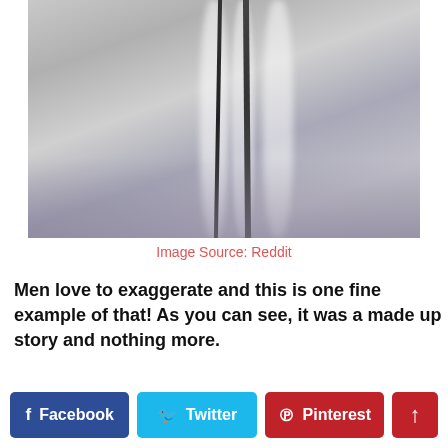[Figure (photo): Close-up macro photograph of what appears to be snow or frost with dark cracks or crevices running vertically through it, with a purplish shadow at the bottom.]
Image Source: Reddit
Men love to exaggerate and this is one fine example of that! As you can see, it was a made up story and nothing more.